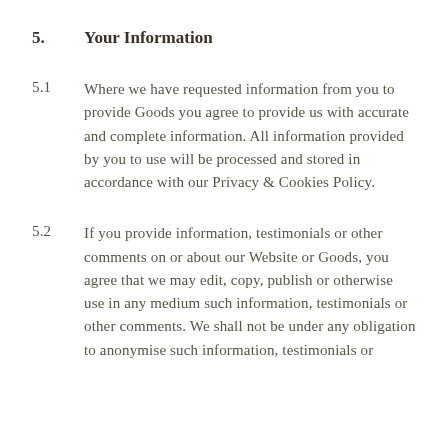5. Your Information
5.1   Where we have requested information from you to provide Goods you agree to provide us with accurate and complete information. All information provided by you to use will be processed and stored in accordance with our Privacy & Cookies Policy.
5.2   If you provide information, testimonials or other comments on or about our Website or Goods, you agree that we may edit, copy, publish or otherwise use in any medium such information, testimonials or other comments. We shall not be under any obligation to anonymise such information, testimonials or